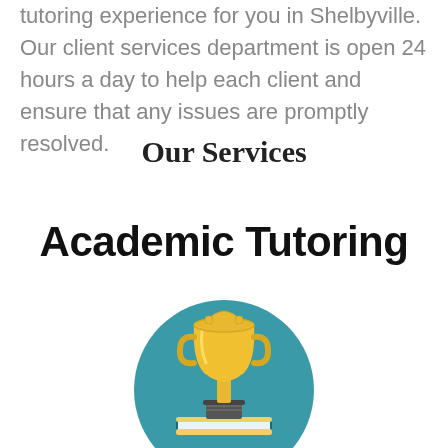tutoring experience for you in Shelbyville. Our client services department is open 24 hours a day to help each client and ensure that any issues are promptly resolved.
Our Services
Academic Tutoring
[Figure (illustration): A trophy cup sitting on a stack of books, set against a teal circular background. The trophy is gold/yellow colored and the books are dark teal/navy with a yellow spine.]